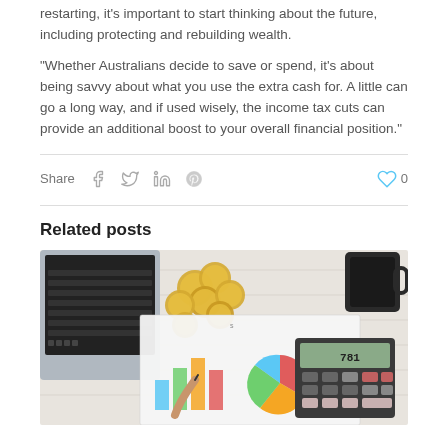restarting, it's important to start thinking about the future, including protecting and rebuilding wealth.
“Whether Australians decide to save or spend, it’s about being savvy about what you use the extra cash for. A little can go a long way, and if used wisely, the income tax cuts can provide an additional boost to your overall financial position.”
Share  [social icons: facebook, twitter, linkedin, pinterest]  [like: heart icon] 0
Related posts
[Figure (photo): Overhead view of a desk with a laptop, gold coins, financial charts (bar chart and pie chart), a calculator, and a coffee mug on a white wooden surface. A hand holds a pen over the charts.]